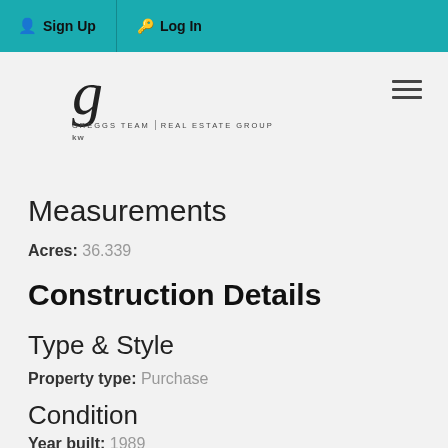Sign Up  Log In
[Figure (logo): Greggs Team Real Estate Group logo with stylized cursive G and kw branding]
Measurements
Acres:  36.339
Construction Details
Type & Style
Property type:  Purchase
Condition
Year built:  1989
Material information